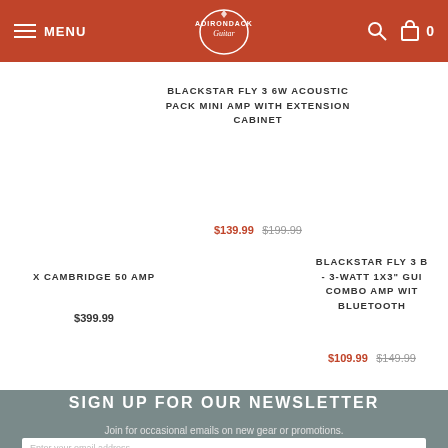MENU | Adirondack Guitar | Search | Cart 0
BLACKSTAR FLY 3 6W ACOUSTIC PACK MINI AMP WITH EXTENSION CABINET
$139.99 $199.99
X CAMBRIDGE 50 AMP
$399.99
BLACKSTAR FLY 3 B - 3-WATT 1X3" GUI COMBO AMP WIT BLUETOOTH
$109.99 $149.99
SIGN UP FOR OUR NEWSLETTER
Join for occasional emails on new gear or promotions.
Enter your email address...